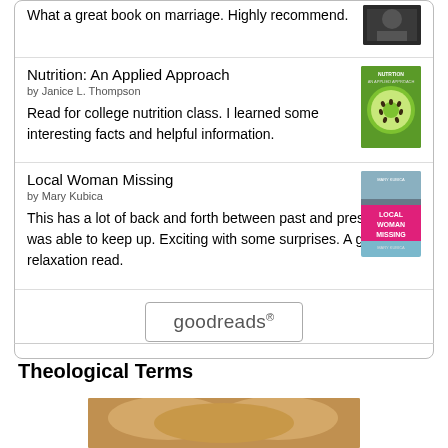What a great book on marriage. Highly recommend.
Nutrition: An Applied Approach
by Janice L. Thompson
Read for college nutrition class. I learned some interesting facts and helpful information.
Local Woman Missing
by Mary Kubica
This has a lot of back and forth between past and present but I was able to keep up. Exciting with some surprises. A great relaxation read.
[Figure (logo): goodreads logo button]
Theological Terms
[Figure (photo): Partial photo at bottom, warm golden tones, appears to show bread or similar subject]